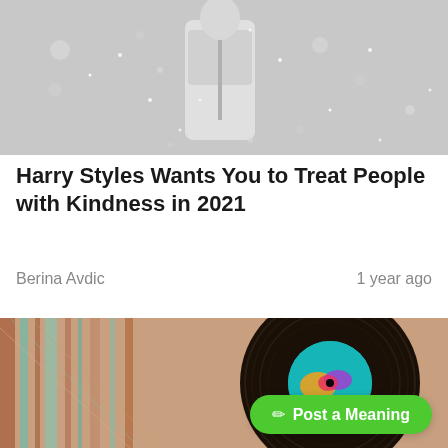[Figure (photo): Grayscale photo of a performer on stage holding a microphone, wearing a patterned jacket, with bokeh lights in the background]
Harry Styles Wants You to Treat People with Kindness in 2021
Berina Avdic
1 year ago
[Figure (photo): Photo of a vinyl record with a teal/blue label on a weathered wooden background with teal paint streaks]